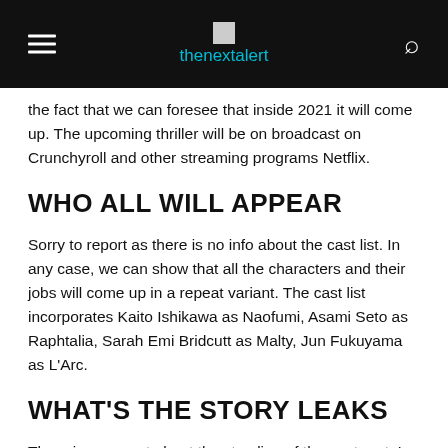thenextalert
the fact that we can foresee that inside 2021 it will come up. The upcoming thriller will be on broadcast on Crunchyroll and other streaming programs Netflix.
WHO ALL WILL APPEAR
Sorry to report as there is no info about the cast list. In any case, we can show that all the characters and their jobs will come up in a repeat variant. The cast list incorporates Kaito Ishikawa as Naofumi, Asami Seto as Raphtalia, Sarah Emi Bridcutt as Malty, Jun Fukuyama as L'Arc.
WHAT'S THE STORY LEAKS
There is no report about the storyline of the next part. In spite of the fact that we can say that the upcoming part will begin from the finish of the first arrival, the next part will be the manner by which Naofumi Iwatani will deliver retribution from the individuals who have blamed him.